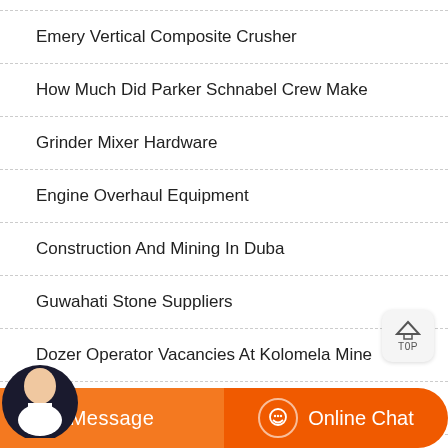Emery Vertical Composite Crusher
How Much Did Parker Schnabel Crew Make
Grinder Mixer Hardware
Engine Overhaul Equipment
Construction And Mining In Duba
Guwahati Stone Suppliers
Dozer Operator Vacancies At Kolomela Mine
Sand And Gravel Impact Sand Making Machine
[Figure (screenshot): Bottom navigation bar with Message button (orange) and Online Chat button (dark orange) with headset icon, plus a customer service avatar on the left]
[Figure (other): Top/Back to top button with house icon and TOP label, positioned at right side of page]